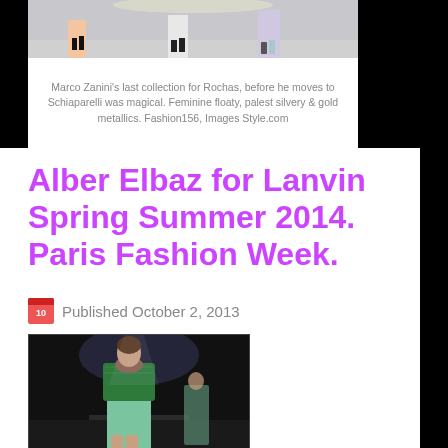[Figure (photo): Fashion runway photo strip showing models in silvery and gold metallic outfits at Rochas collection]
Marco Zanini's last collection for Rochas, before he moves to Schiaparelli was magical. Feminine floaty, palest silvery & gold metallics. Fashion156, Images Style.com
Alber Elbaz for Lanvin Spring Summer 2014. Paris Fashion Week.
Published October 2, 2013
[Figure (photo): Model wearing green jacket and mint/teal patterned dress on runway at Lanvin Spring Summer 2014 Paris Fashion Week]